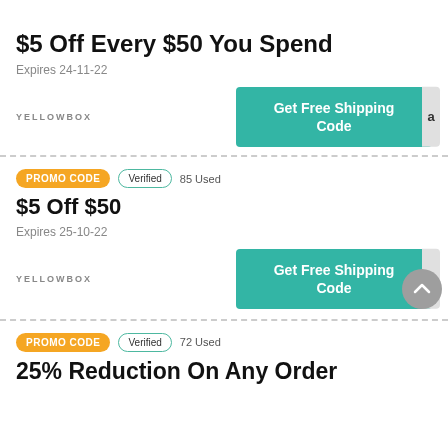$5 Off Every $50 You Spend
Expires 24-11-22
YELLOWBOX
Get Free Shipping Code
PROMO CODE  Verified  85 Used
$5 Off $50
Expires 25-10-22
YELLOWBOX
Get Free Shipping Code
PROMO CODE  Verified  72 Used
25% Reduction On Any Order